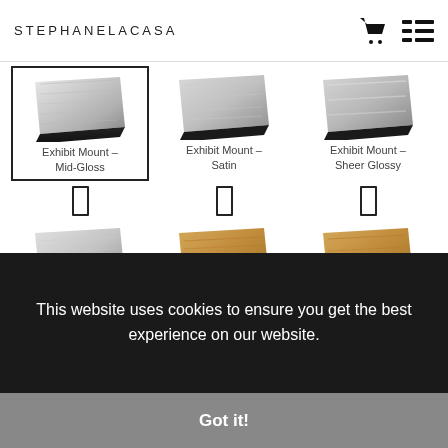STEPHANELACASA
[Figure (screenshot): Grid of product options: Exhibit Mount Mid-Gloss (selected), Exhibit Mount Satin, Exhibit Mount Sheer Glossy, Exhibit Mount Sheer Matte, Wood Print Natural Finish, Wood Print White Finish, Canvas Gallery, Canvas Prints, Xpozer]
This website uses cookies to ensure you get the best experience on our website.
Got it!